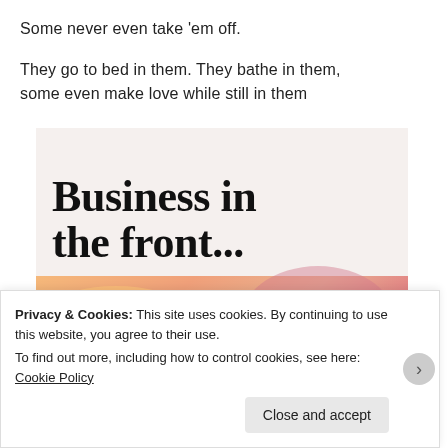Some never even take 'em off.
They go to bed in them. They bathe in them, some even make love while still in them
[Figure (illustration): WordPress promotional image split into two sections: top section with light beige background showing large bold text 'Business in the front...' partially cropped; bottom section with warm orange-pink gradient background with decorative blobs showing bold text 'WordPress in the back.']
Privacy & Cookies: This site uses cookies. By continuing to use this website, you agree to their use.
To find out more, including how to control cookies, see here: Cookie Policy